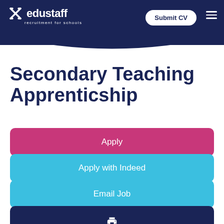edustaff recruitment for schools
Secondary Teaching Apprenticship
Apply
Apply with Indeed
Email Job
[Print icon]